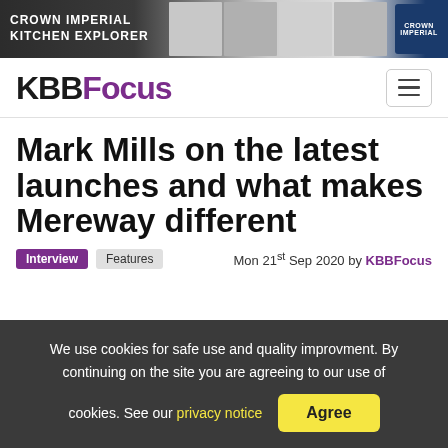[Figure (screenshot): Crown Imperial Kitchen Explorer advertisement banner with dark background, kitchen product images, and Crown logo.]
KBBFocus
Mark Mills on the latest launches and what makes Mereway different
Interview   Features   Mon 21st Sep 2020 by KBBFocus
We use cookies for safe use and quality improvment. By continuing on the site you are agreeing to our use of cookies. See our privacy notice   Agree